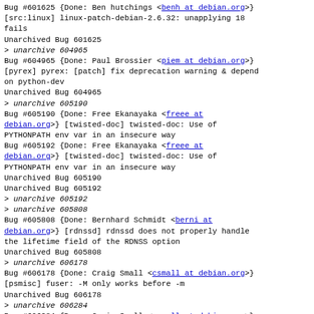Bug #601625 {Done: Ben hutchings <benh at debian.org>} [src:linux] linux-patch-debian-2.6.32: unapplying 18 fails
Unarchived Bug 601625
> unarchive 604965
Bug #604965 {Done: Paul Brossier <piem at debian.org>} [pyrex] pyrex: [patch] fix deprecation warning & depend on python-dev
Unarchived Bug 604965
> unarchive 605190
Bug #605190 {Done: Free Ekanayaka <freee at debian.org>} [twisted-doc] twisted-doc: Use of PYTHONPATH env var in an insecure way
Bug #605192 {Done: Free Ekanayaka <freee at debian.org>} [twisted-doc] twisted-doc: Use of PYTHONPATH env var in an insecure way
Unarchived Bug 605190
Unarchived Bug 605192
> unarchive 605192
> unarchive 605808
Bug #605808 {Done: Bernhard Schmidt <berni at debian.org>} [rdnssd] rdnssd does not properly handle the lifetime field of the RDNSS option
Unarchived Bug 605808
> unarchive 606178
Bug #606178 {Done: Craig Small <csmall at debian.org>} [psmisc] fuser: -M only works before -m
Unarchived Bug 606178
> unarchive 606284
Bug #606284 {Done: Craig Small <csmall at debian.org>} [psone] [libpsone] Misleading error message for